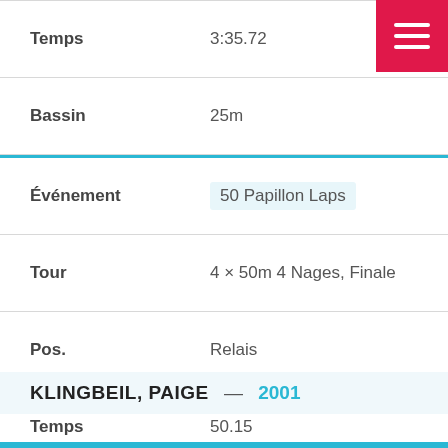| Label | Value |
| --- | --- |
| Temps | 3:35.72 |
| Bassin | 25m |
| Événement | 50 Papillon Laps |
| Tour | 4 × 50m 4 Nages, Finale |
| Pos. | Relais |
| Temps | 50.15 |
| Bassin | 25m |
KLINGBEIL, PAIGE — 2001